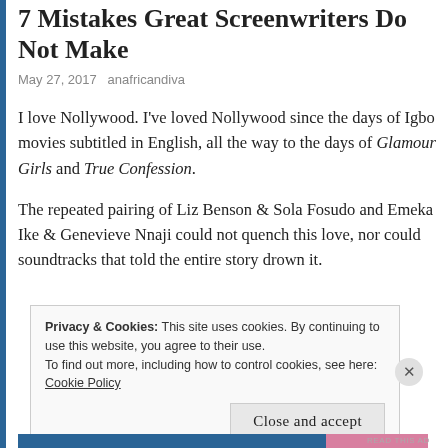7 Mistakes Great Screenwriters Do Not Make
May 27, 2017   anafricandiva
I love Nollywood. I've loved Nollywood since the days of Igbo movies subtitled in English, all the way to the days of Glamour Girls and True Confession.
The repeated pairing of Liz Benson & Sola Fosudo and Emeka Ike & Genevieve Nnaji could not quench this love, nor could soundtracks that told the entire story drown it.
Privacy & Cookies: This site uses cookies. By continuing to use this website, you agree to their use.
To find out more, including how to control cookies, see here: Cookie Policy